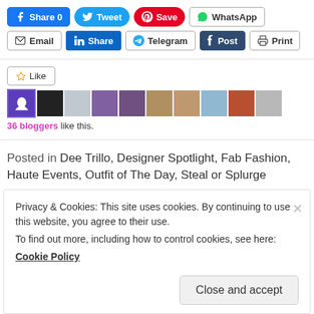[Figure (screenshot): Social share buttons row 1: Facebook Share 0, Tweet, Save (Pinterest), WhatsApp]
[Figure (screenshot): Social share buttons row 2: Email, LinkedIn Share, Telegram, Tumblr Post, Print]
[Figure (screenshot): Like button and blogger avatars row showing 36 bloggers like this]
36 bloggers like this.
Posted in Dee Trillo, Designer Spotlight, Fab Fashion, Haute Events, Outfit of The Day, Steal or Splurge
Privacy & Cookies: This site uses cookies. By continuing to use this website, you agree to their use.
To find out more, including how to control cookies, see here:
Cookie Policy
Close and accept